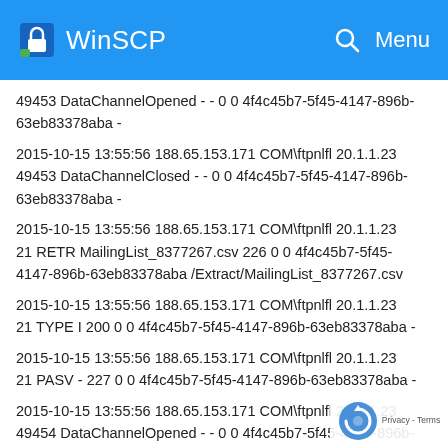WinSCP
49453 DataChannelOpened - - 0 0 4f4c45b7-5f45-4147-896b-63eb83378aba -
2015-10-15 13:55:56 188.65.153.171 COM\ftpnlfl 20.1.1.23 49453 DataChannelClosed - - 0 0 4f4c45b7-5f45-4147-896b-63eb83378aba -
2015-10-15 13:55:56 188.65.153.171 COM\ftpnlfl 20.1.1.23 21 RETR MailingList_8377267.csv 226 0 0 4f4c45b7-5f45-4147-896b-63eb83378aba /Extract/MailingList_8377267.csv
2015-10-15 13:55:56 188.65.153.171 COM\ftpnlfl 20.1.1.23 21 TYPE I 200 0 0 4f4c45b7-5f45-4147-896b-63eb83378aba -
2015-10-15 13:55:56 188.65.153.171 COM\ftpnlfl 20.1.1.23 21 PASV - 227 0 0 4f4c45b7-5f45-4147-896b-63eb83378aba -
2015-10-15 13:55:56 188.65.153.171 COM\ftpnlfl 20.1.1.23 49454 DataChannelOpened - - 0 0 4f4c45b7-5f45-4147-896b-